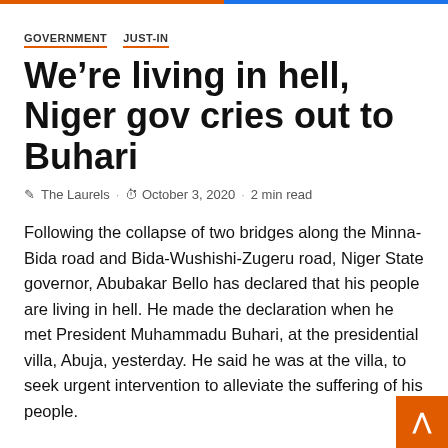GOVERNMENT   JUST-IN
We’re living in hell, Niger gov cries out to Buhari
The Laurels · October 3, 2020 · 2 min read
Following the collapse of two bridges along the Minna-Bida road and Bida-Wushishi-Zugeru road, Niger State governor, Abubakar Bello has declared that his people are living in hell. He made the declaration when he met President Muhammadu Buhari, at the presidential villa, Abuja, yesterday. He said he was at the villa, to seek urgent intervention to alleviate the suffering of his people.